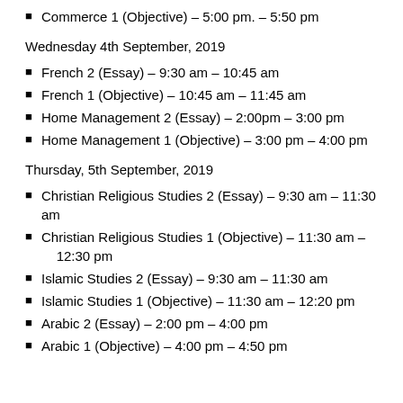Commerce 1 (Objective) – 5:00 pm. – 5:50 pm
Wednesday 4th September, 2019
French 2 (Essay) – 9:30 am – 10:45 am
French 1 (Objective) – 10:45 am – 11:45 am
Home Management 2 (Essay) – 2:00pm – 3:00 pm
Home Management 1 (Objective) – 3:00 pm – 4:00 pm
Thursday, 5th September, 2019
Christian Religious Studies 2 (Essay) – 9:30 am – 11:30 am
Christian Religious Studies 1 (Objective) – 11:30 am – 12:30 pm
Islamic Studies 2 (Essay) – 9:30 am – 11:30 am
Islamic Studies 1 (Objective) – 11:30 am – 12:20 pm
Arabic 2 (Essay) – 2:00 pm – 4:00 pm
Arabic 1 (Objective) – 4:00 pm – 4:50 pm